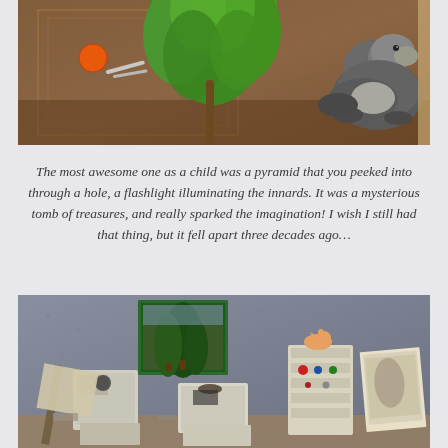[Figure (photo): Close-up photo of green leafy plant with an animal (beaver or otter) figurine on the right, orange and silverware visible on a patterned rug in the background.]
The most awesome one as a child was a pyramid that you peeked into through a hole, a flashlight illuminating the innards. It was a mysterious tomb of treasures, and really sparked the imagination! I wish I still had that thing, but it fell apart three decades ago…
[Figure (photo): Miniature room scene with small white furniture, shelving units, a framed painting of trees on the wall, and tiny figurines including a small cat on top of a shelf.]